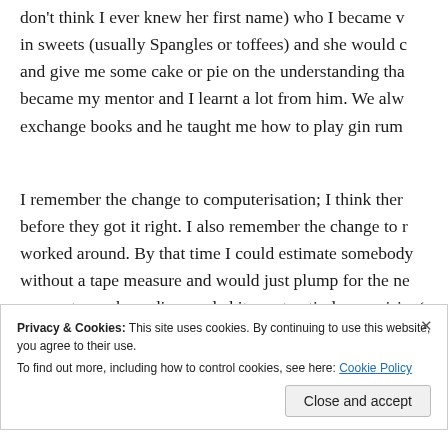don't think I ever knew her first name) who I became v in sweets (usually Spangles or toffees) and she would c and give me some cake or pie on the understanding tha became my mentor and I learnt a lot from him. We alw exchange books and he taught me how to play gin rum
I remember the change to computerisation; I think ther before they got it right. I also remember the change to r worked around. By that time I could estimate somebody without a tape measure and would just plump for the ne our customer base disregarded it – not entirely surprisin coming to terms with decimal currency.
Privacy & Cookies: This site uses cookies. By continuing to use this website, you agree to their use. To find out more, including how to control cookies, see here: Cookie Policy